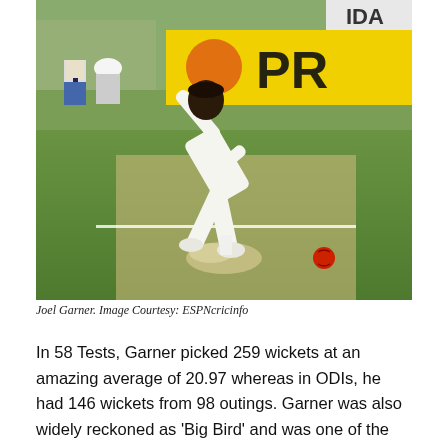[Figure (photo): Joel Garner, a West Indian cricketer in white cricket kit, is photographed mid-delivery action on a cricket pitch. A red ball can be seen bouncing near the crease, with a puff of dust. Stadium advertising boards including 'PR' in yellow and black are visible in the background, along with spectators.]
Joel Garner. Image Courtesy: ESPNcricinfo
In 58 Tests, Garner picked 259 wickets at an amazing average of 20.97 whereas in ODIs, he had 146 wickets from 98 outings. Garner was also widely reckoned as ‘Big Bird’ and was one of the most formidable bowlers of his era. He